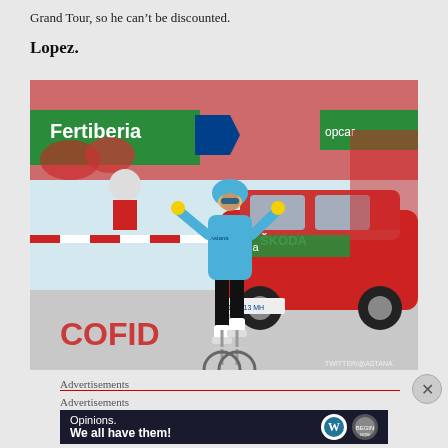Grand Tour, so he can't be discounted.
Lopez.
[Figure (photo): Cyclist in blue Astana kit celebrating a stage win at the Vuelta a España, riding across the finish line with arms raised, with a red Skoda team car in the background and crowds watching. Fertiberia and Opcar sponsor banners visible.]
Advertisements
Advertisements
[Figure (infographic): Advertisement banner with dark background reading 'Opinions. We all have them!' with WordPress logo and another circular logo on the right.]